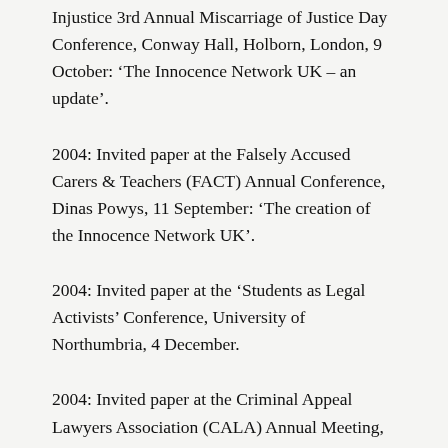Injustice 3rd Annual Miscarriage of Justice Day Conference, Conway Hall, Holborn, London, 9 October: ‘The Innocence Network UK – an update’.
2004: Invited paper at the Falsely Accused Carers & Teachers (FACT) Annual Conference, Dinas Powys, 11 September: ‘The creation of the Innocence Network UK’.
2004: Invited paper at the ‘Students as Legal Activists’ Conference, University of Northumbria, 4 December.
2004: Invited paper at the Criminal Appeal Lawyers Association (CALA) Annual Meeting, Hickman and Rose, Liverpool Street, London.